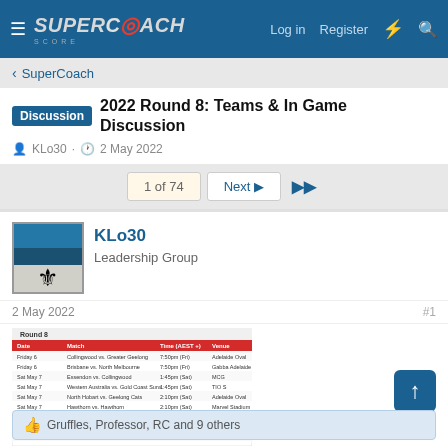SuperCoach Score — Navigation bar with Log in, Register, and search icons
SuperCoach
Discussion  2022 Round 8: Teams & In Game Discussion
KLo30 · 2 May 2022
1 of 74  Next  ▶▶
KLo30
Leadership Group
2 May 2022  #1
[Figure (table-as-image): Round 8 fixture schedule table showing match dates, teams, times and venues]
NB. TWO FRIDAY NIGHT GAMES
Gruffles, Professor, RC and 9 others